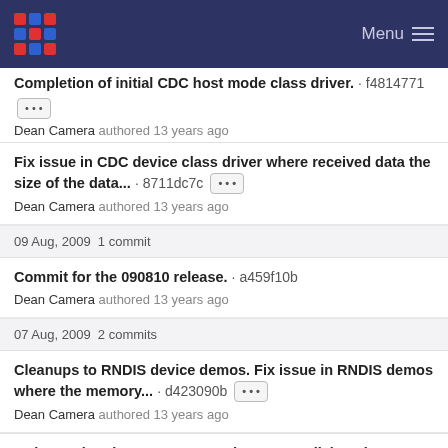Menu
Completion of initial CDC host mode class driver. · f4814771
Dean Camera authored 13 years ago
Fix issue in CDC device class driver where received data the size of the data... · 8711dc7c
Dean Camera authored 13 years ago
09 Aug, 2009 1 commit
Commit for the 090810 release. · a459f10b
Dean Camera authored 13 years ago
07 Aug, 2009 2 commits
Cleanups to RNDIS device demos. Fix issue in RNDIS demos where the memory... · d423090b
Dean Camera authored 13 years ago
Make Benito ping-pong LED code more explicit, using number of the TX and RX LED...